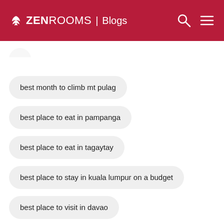ZEN ROOMS | Blogs
best month to climb mt pulag
best place to eat in pampanga
best place to eat in tagaytay
best place to stay in kuala lumpur on a budget
best place to visit in davao
best place to visit in tarlac
best places in luzon
best places in mindanao
best places to eat in laguna